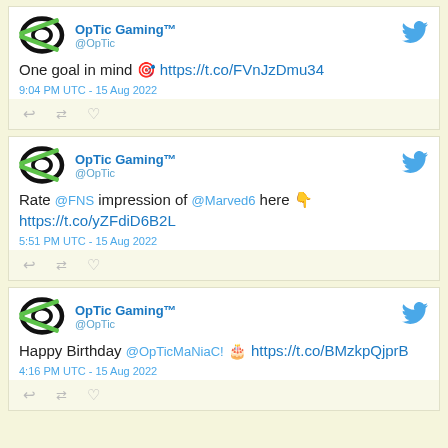OpTic Gaming™ @OpTic — One goal in mind 🎯 https://t.co/FVnJzDmu34
9:04 PM UTC - 15 Aug 2022
OpTic Gaming™ @OpTic — Rate @FNS impression of @Marved6 here 👇
https://t.co/yZFdiD6B2L
5:51 PM UTC - 15 Aug 2022
OpTic Gaming™ @OpTic — Happy Birthday @OpTicMaNiaC! 🎂 https://t.co/BMzkpQjprB
4:16 PM UTC - 15 Aug 2022